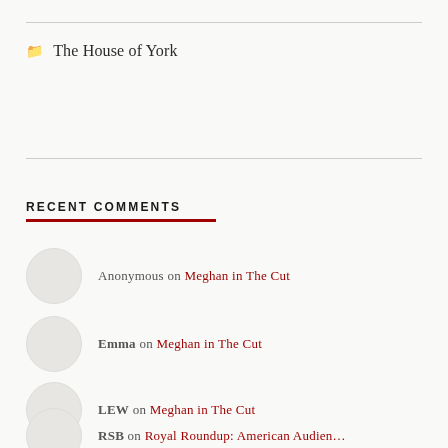The House of York
RECENT COMMENTS
Anonymous on Meghan in The Cut
Emma on Meghan in The Cut
LEW on Meghan in The Cut
RSB on Royal Roundup: American Audien…